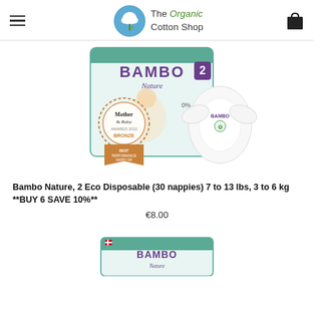The Organic Cotton Shop
[Figure (photo): Bambo Nature size 2 eco disposable nappies product box with Mother & Baby Awards 2022 Bronze medal badge, alongside a single nappy shown from the front.]
Bambo Nature, 2 Eco Disposable (30 nappies) 7 to 13 lbs, 3 to 6 kg **BUY 6 SAVE 10%**
€8.00
[Figure (photo): Partial view of a second Bambo Nature nappy product box at the bottom of the page.]